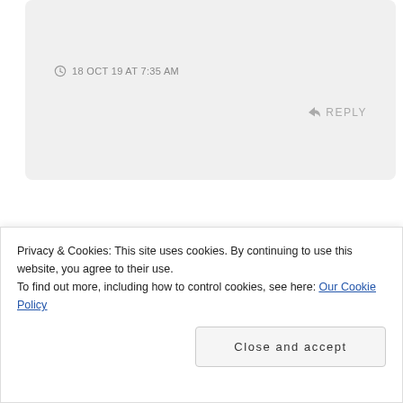18 OCT 19 AT 7:35 AM
REPLY
[Figure (illustration): Circular avatar with dark blue/indigo background showing a yellow-green triangle character with googly eyes and a flat mouth line — cartoon style]
Niyx
Ah! I'm so excited for this! I love Cole and crew!
Privacy & Cookies: This site uses cookies. By continuing to use this website, you agree to their use.
To find out more, including how to control cookies, see here: Our Cookie Policy
Close and accept